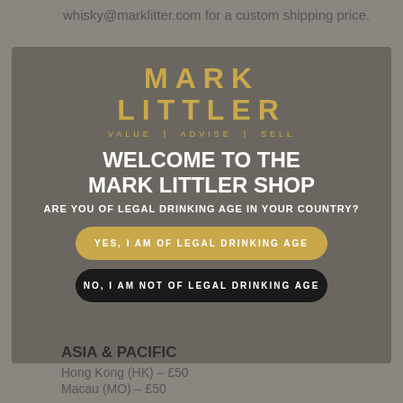whisky@marklitter.com for a custom shipping price.
[Figure (screenshot): Age verification modal popup for the Mark Littler Shop, featuring the Mark Littler logo in gold (VALUE | ADVISE | SELL), a headline 'WELCOME TO THE MARK LITTLER SHOP', subtitle 'ARE YOU OF LEGAL DRINKING AGE IN YOUR COUNTRY?', and two buttons: 'YES, I AM OF LEGAL DRINKING AGE' (gold/tan) and 'NO, I AM NOT OF LEGAL DRINKING AGE' (black).]
ASIA & PACIFIC
Hong Kong (HK) – £50
Macau (MO) – £50